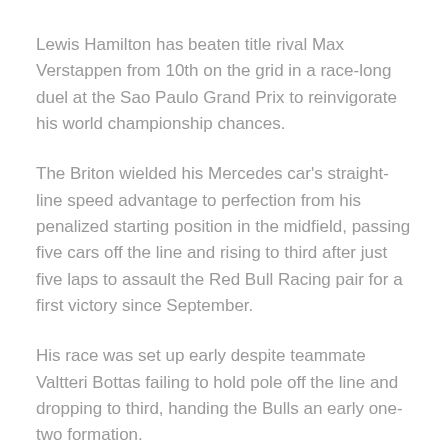Lewis Hamilton has beaten title rival Max Verstappen from 10th on the grid in a race-long duel at the Sao Paulo Grand Prix to reinvigorate his world championship chances.
The Briton wielded his Mercedes car's straight-line speed advantage to perfection from his penalized starting position in the midfield, passing five cars off the line and rising to third after just five laps to assault the Red Bull Racing pair for a first victory since September.
His race was set up early despite teammate Valtteri Bottas failing to hold pole off the line and dropping to third, handing the Bulls an early one-two formation.